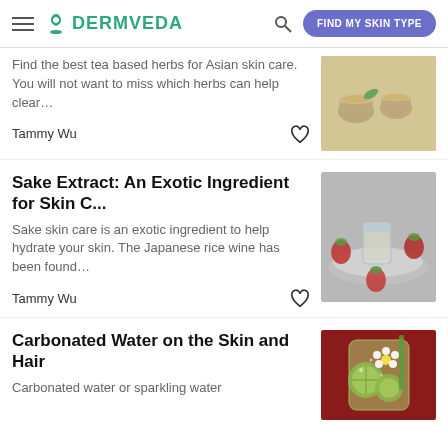DERMVEDA | FIND MY SKIN TYPE
Find the best tea based herbs for Asian skin care. You will not want to miss which herbs can help clear…
Tammy Wu
[Figure (photo): Tea cups with herbs and green leaves]
Sake Extract: An Exotic Ingredient for Skin C...
Sake skin care is an exotic ingredient to help hydrate your skin. The Japanese rice wine has been found…
Tammy Wu
[Figure (photo): Shot glass with sake and strawberries on plate]
Carbonated Water on the Skin and Hair
Carbonated water or sparkling water
[Figure (photo): Carbonated water drink with lime slices and daisy flowers]